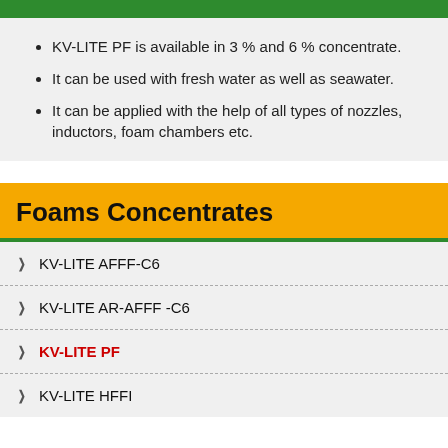KV-LITE PF is available in 3 % and 6 % concentrate.
It can be used with fresh water as well as seawater.
It can be applied with the help of all types of nozzles, inductors, foam chambers etc.
Foams Concentrates
KV-LITE AFFF-C6
KV-LITE AR-AFFF -C6
KV-LITE PF
KV-LITE HFFI